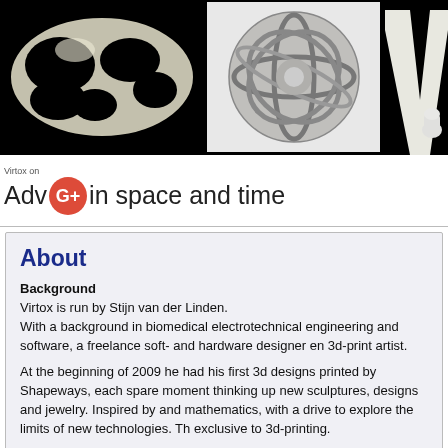[Figure (photo): Header banner with three 3D printed sculpture photos on black background: left is a white organic shell-like sculpture, center is a grey spherical interlocked ring sculpture, right shows white letter-like 3D forms partially visible]
Virtox on G+ Adventures in space and time
About
Background
Virtox is run by Stijn van der Linden.
With a background in biomedical electrotechnical engineering and software, a freelance soft- and hardware designer en 3d-print artist.
At the beginning of 2009 he had his first 3d designs printed by Shapeways, each spare moment thinking up new sculptures, designs and jewelry. Inspired by mathematics, with a drive to explore the limits of new technologies. The results are exclusive to 3d-printing.
For example the kinetic sculptures, like "Gyro the Cube", concentric cubes that are able to rotate freely within each other. Or the strands of "Gyroid Bones", w...